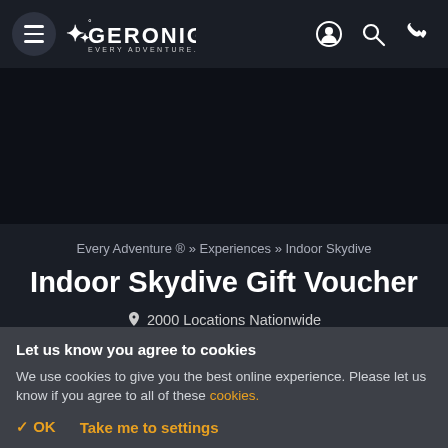[Figure (logo): Geronigo logo with hamburger menu button and navigation icons (user, search, phone) on dark background]
[Figure (photo): Dark hero image area, mostly black]
Every Adventure ® » Experiences » Indoor Skydive
Indoor Skydive Gift Voucher
2000 Locations Nationwide
Valid for 12 Months
Let us know you agree to cookies
We use cookies to give you the best online experience. Please let us know if you agree to all of these cookies.
✓ OK   Take me to settings